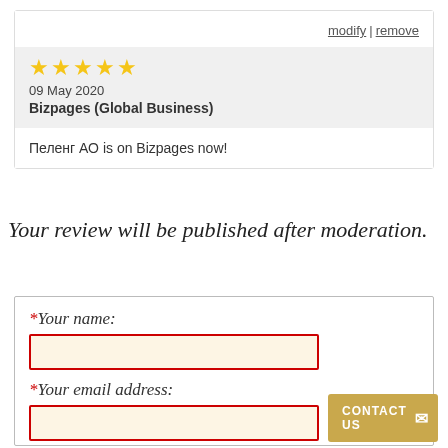modify | remove
[Figure (other): Five gold stars rating]
09 May 2020
Bizpages (Global Business)
Пеленг АО is on Bizpages now!
Your review will be published after moderation.
*Your name:
*Your email address:
Country: